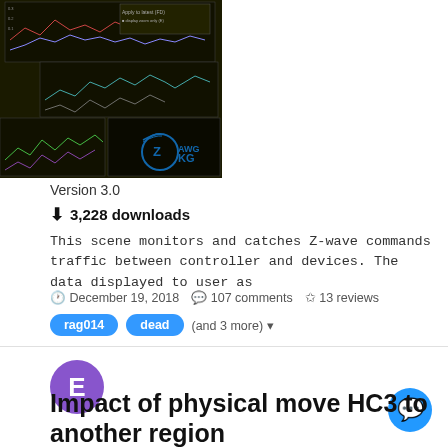[Figure (screenshot): Screenshots of Z-wave traffic monitoring software showing line charts on black background with ZKG logo]
Version 3.0
⬇ 3,228 downloads
This scene monitors and catches Z-wave commands traffic between controller and devices. The data displayed to user as
🕐 December 19, 2018   💬 107 comments   ✩ 13 reviews
rag014
dead
(and 3 more) ▾
[Figure (other): Purple circular avatar with letter E]
Impact of physical move HC3 to another region